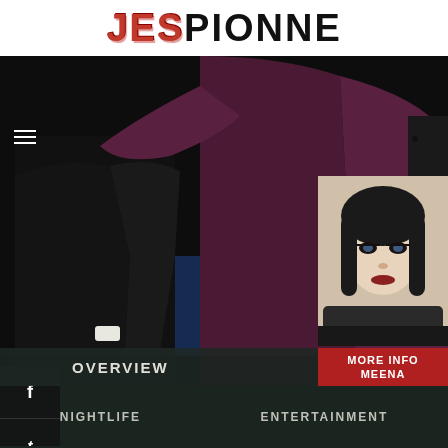JESPIONNE
[Figure (photo): Main editorial photo showing men in formal suits (black tuxedo and dark burgundy/plum suit) at what appears to be an event, with blue seating visible in background. One man appears to be leaning forward with hand extended.]
[Figure (photo): Small portrait thumbnail of a woman with dark hair and dramatic makeup, positioned in lower right corner with 'MORE INFO' and 'MEENA' overlay text]
OVERVIEW
MORE INFO
MEENA
NIGHTLIFE   ENTERTAINMENT